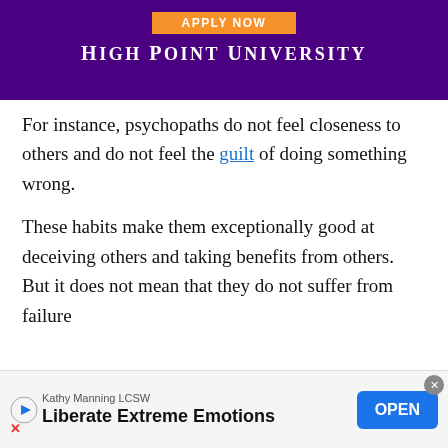[Figure (other): High Point University advertisement banner with purple background, orange 'APPLY NOW' button, and white university name text]
For instance, psychopaths do not feel closeness to others and do not feel the guilt of doing something wrong.
These habits make them exceptionally good at deceiving others and taking benefits from others. But it does not mean that they do not suffer from failure
[Figure (other): Bottom advertisement for 'Liberate Extreme Emotions' by Kathy Manning LCSW with OPEN button]